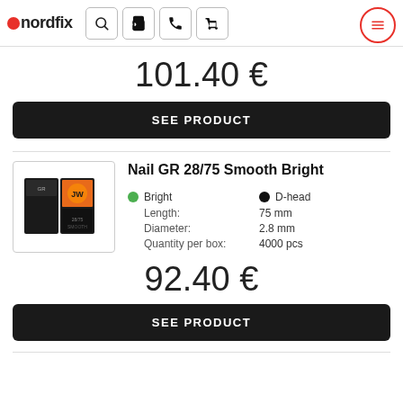nordfix header with search, phone, cart, and menu icons
101.40 €
SEE PRODUCT
Nail GR 28/75 Smooth Bright
Bright
D-head
Length: 75 mm
Diameter: 2.8 mm
Quantity per box: 4000 pcs
92.40 €
SEE PRODUCT